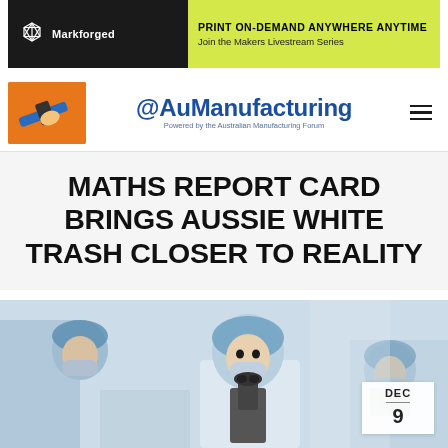[Figure (screenshot): Markforged advertisement banner: dark background on left with Markforged logo, yellow section on right with text 'PRINT ON-DEMAND ANYWHERE ANYTIME' and 'Join the Makers Livestream Series']
[Figure (logo): @AuManufacturing logo with tagline 'Powered by the Australian Manufacturing Forum' and a thumbnail image of hands hammering]
MATHS REPORT CARD BRINGS AUSSIE WHITE TRASH CLOSER TO REALITY
[Figure (photo): Photo of people in blue hairnets and masks using microscopes in a laboratory setting, with a date badge showing DEC 9]